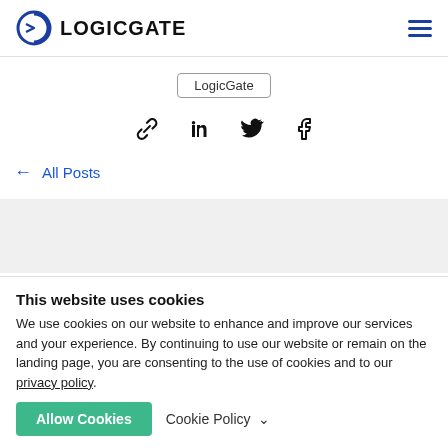LOGICGATE
LogicGate
[Figure (infographic): Social sharing icons: link/chain, LinkedIn, Twitter, Facebook]
← All Posts
Related Posts
This website uses cookies
We use cookies on our website to enhance and improve our services and your experience. By continuing to use our website or remain on the landing page, you are consenting to the use of cookies and to our privacy policy.
Allow Cookies   Cookie Policy ∨